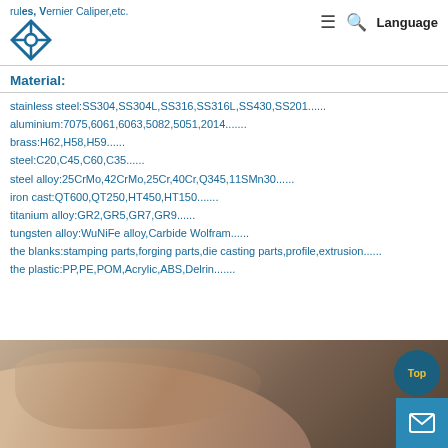rules, Vernier Caliper,etc.
Material:
[logo] [hamburger] [search] Language
Material:
stainless steel:SS304,SS304L,SS316,SS316L,SS430,SS201......
aluminium:7075,6061,6063,5082,5051,2014.......
brass:H62,H58,H59......
steel:C20,C45,C60,C35......
steel alloy:25CrMo,42CrMo,25Cr,40Cr,Q345,11SMn30......
iron cast:QT600,QT250,HT450,HT150.......
titanium alloy:GR2,GR5,GR7,GR9......
tungsten alloy:WuNiFe alloy,Carbide Wolfram......
the blanks:stamping parts,forging parts,die casting parts,profile,extrusion......
the plastic:PP,PE,POM,Acrylic,ABS,Delrin.......
[Figure (photo): Close-up photo of a hand holding or examining a metal machined part, with a dark background. A 'Top' button and mail icon are overlaid in the bottom-right corner.]